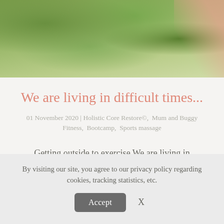[Figure (photo): Outdoor grass background photo with a person partially visible on the right edge wearing a pink/coral garment]
We are living in difficult times...
01 November 2020 | Holistic Core Restore©,  Mum and Buggy Fitness,  Bootcamp,  Sports massage
Getting outside to exercise We are living in difficult times...so it's more important than ever to carve out some time in your day for yourself, whether that's taking a
By visiting our site, you agree to our privacy policy regarding cookies, tracking statistics, etc.